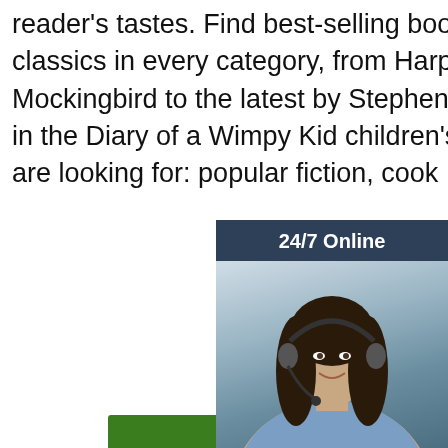reader's tastes. Find best-selling books, new releases, and classics in every category, from Harper Lee's To Kill a Mockingbird to the latest by Stephen King or the next installment in the Diary of a Wimpy Kid children's book series. W... you are looking for: popular fiction, cookb... mystery ...
[Figure (other): Green 'Get Price' button]
[Figure (photo): Chat widget with woman wearing headset, '24/7 Online' header, 'Click here for free chat!' text, and orange QUOTATION button]
[Figure (photo): Photo of steel rebar/reinforcement bars bundled together, with TOP logo in orange at bottom right]